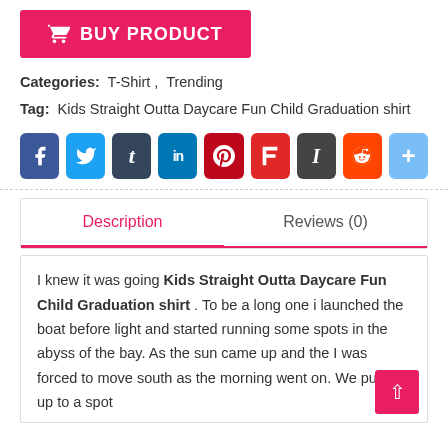[Figure (other): BUY PRODUCT button with shopping cart icon, pink/magenta background]
Categories: T-Shirt , Trending
Tag: Kids Straight Outta Daycare Fun Child Graduation shirt
[Figure (other): Row of social sharing icons: Facebook, Twitter, Tumblr, LinkedIn, Pinterest, Flipboard, Instapaper, Reddit, Share]
Description
Reviews (0)
I knew it was going Kids Straight Outta Daycare Fun Child Graduation shirt . To be a long one i launched the boat before light and started running some spots in the abyss of the bay. As the sun came up and the I was forced to move south as the morning went on. We pulled up to a spot